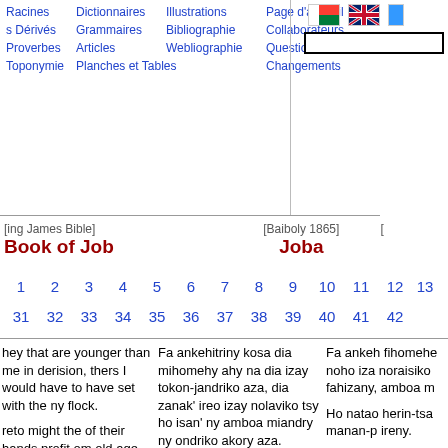Racines | Dictionnaires | Illustrations | Page d'accueil | s Dérivés | Grammaires | Bibliographie | Collaborateurs | Proverbes | Articles | Webliographie | Questions | Toponymie | Planches et Tables | Changements
[Figure (screenshot): Navigation header with Madagascar flag, US/UK flag, and search box]
[ing James Bible] Book of Job | [Baiboly 1865] Joba
1 2 3 4 5 6 7 8 9 10 11 12 13 14 15 16 ... 31 32 33 34 35 36 37 38 39 40 41 42
hey that are younger than me in derision, thers I would have to have set with the ny flock.
Fa ankehitriny kosa dia mihomehy ahy na dia izay tokon-jandriko aza, dia zanak' ireo izay nolaviko tsy ho isan' ny amboa miandry ny ondriko akory aza.
Fa ankeh fihomehe noho iza noraisiko fahizany, amboa m
reto might the of their hands profit om old age was p
Eny, mampaninona ahy ny herin' ny tànan' ireo. Izay efa very fahatanjahana?
Ho natao herin-tsa manan-p ireny.
and famine they were
Manjenjena noho ny tsi-fisian-
Kaozatry